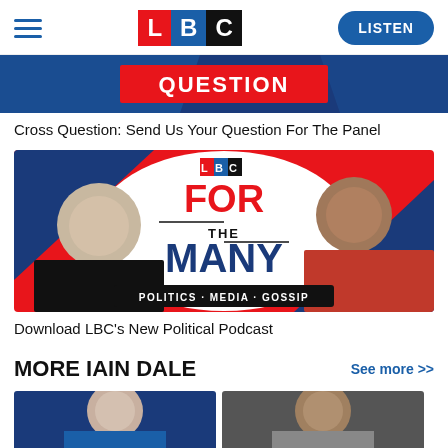LBC — LISTEN
[Figure (photo): Cross Question banner with dark blue background and red bar with QUESTION text]
Cross Question: Send Us Your Question For The Panel
[Figure (photo): LBC For The Many podcast banner with two presenters and text: FOR THE MANY, POLITICS · MEDIA · GOSSIP]
Download LBC's New Political Podcast
MORE IAIN DALE
See more >>
[Figure (photo): Two thumbnail photos of Iain Dale segments at bottom of page]